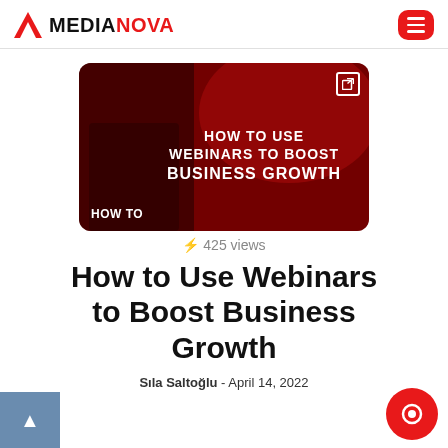MEDIANOVA
[Figure (screenshot): Video thumbnail with dark red background showing text 'HOW TO USE WEBINARS TO BOOST BUSINESS GROWTH' and label 'HOW TO' at bottom left, with an external link icon at top right.]
⚡ 425 views
How to Use Webinars to Boost Business Growth
Sıla Saltoğlu - April 14, 2022